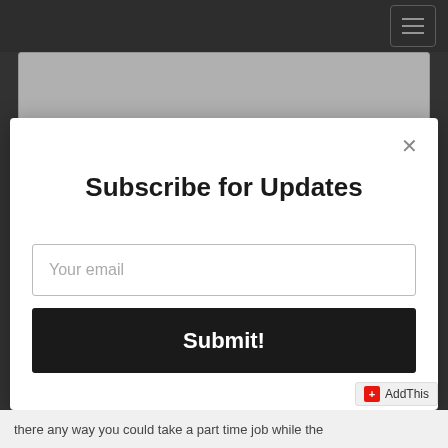[Figure (screenshot): Website navigation bar with dark background and hamburger menu button (three horizontal lines) on the right side]
Enter your comment here...
Subscribe for Updates
Your email
Submit!
there any way you could take a part time job while the
AddThis